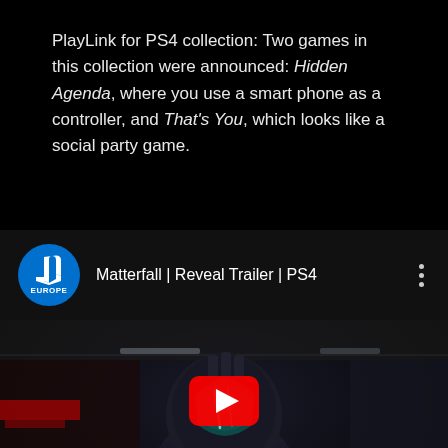PlayLink for PS4 collection: Two games in this collection were announced: Hidden Agenda, where you use a smart phone as a controller, and That's You, which looks like a social party game.
[Figure (screenshot): YouTube video thumbnail/player for 'Matterfall | Reveal Trailer | PS4' by PlayStation Europe. Shows a PlayStation Europe logo (blue circle with PlayStation symbol and 'EUROPE' text), video title, a three-dot menu icon, and below a dark sci-fi armored character with a glowing helmet visor, with a YouTube play button overlay at the bottom center.]